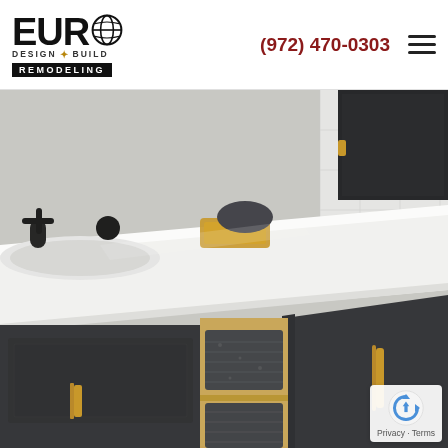[Figure (logo): Euro Design Build Remodeling logo with globe icon and Texas star]
(972) 470-0303
[Figure (photo): Close-up of a modern bathroom vanity with dark charcoal/black cabinets, white quartz countertop, black faucet hardware, gold/brass accents, open cabinet door revealing stacked dark gray towels on a warm wood-toned interior shelf, with white subway tile background]
Privacy · Terms